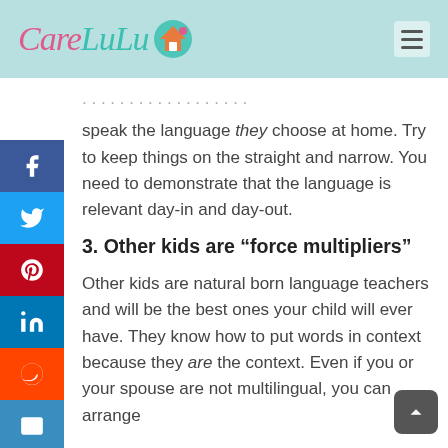CareLuLu
speak the language they choose at home. Try to keep things on the straight and narrow. You need to demonstrate that the language is relevant day-in and day-out.
3. Other kids are “force multipliers”
Other kids are natural born language teachers and will be the best ones your child will ever have. They know how to put words in context because they are the context. Even if you or your spouse are not multilingual, you can arrange